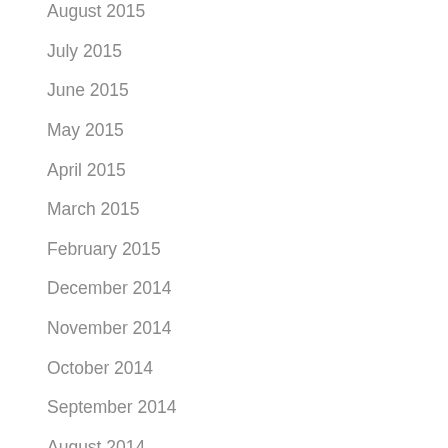August 2015
July 2015
June 2015
May 2015
April 2015
March 2015
February 2015
December 2014
November 2014
October 2014
September 2014
August 2014
July 2014
June 2014
May 2014